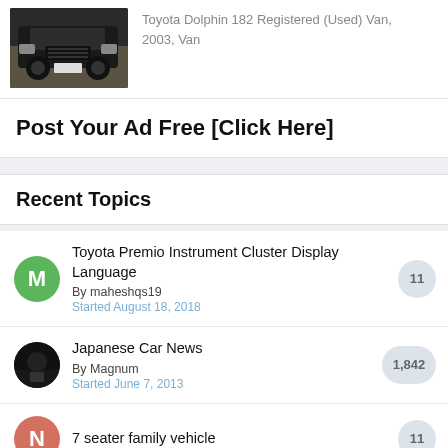[Figure (photo): Front view of a dark Toyota Dolphin van]
Toyota Dolphin 182 Registered (Used) Van, 2003, Van
Post Your Ad Free [Click Here]
Recent Topics
Toyota Premio Instrument Cluster Display Language
By maheshqs19
Started August 18, 2018
11
Japanese Car News
By Magnum
Started June 7, 2013
1,842
7 seater family vehicle
11